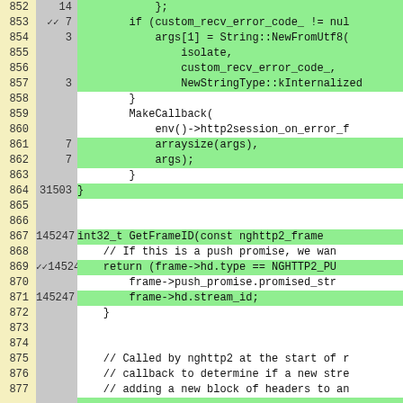[Figure (screenshot): Code coverage viewer showing lines 852-877 of C++ source code. Left column shows line numbers on yellow background, middle column shows hit counts on gray background, right column shows highlighted source code on green background. Lines covered are highlighted green. Source code includes HTTP2 session error handling and GetFrameID function.]